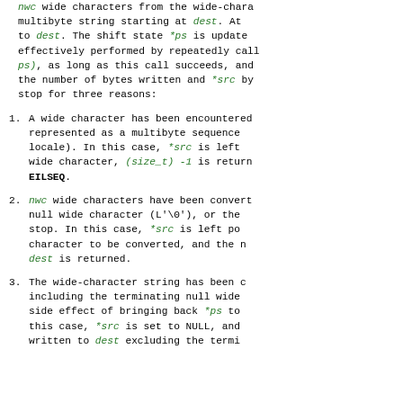nwc wide characters from the wide-character multibyte string starting at dest. At to dest. The shift state *ps is updated effectively performed by repeatedly calling ps), as long as this call succeeds, and the number of bytes written and *src by stop for three reasons:
1. A wide character has been encountered represented as a multibyte sequence locale). In this case, *src is left wide character, (size_t) -1 is returned EILSEQ.
2. nwc wide characters have been converted null wide character (L'\0'), or the stop. In this case, *src is left pointing character to be converted, and the number dest is returned.
3. The wide-character string has been converted including the terminating null wide side effect of bringing back *ps to this case, *src is set to NULL, and written to dest excluding the terminating